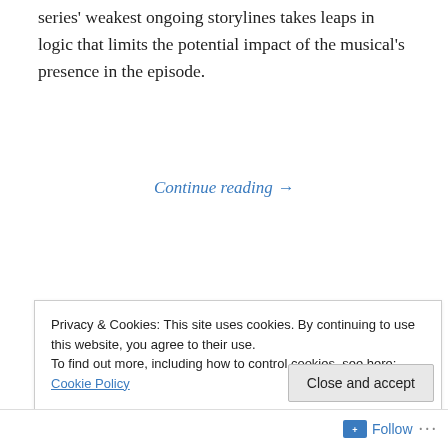series' weakest ongoing storylines takes leaps in logic that limits the potential impact of the musical's presence in the episode.
Continue reading →
Advertisements
[Figure (illustration): Jetpack advertisement banner with green background showing 'The best real-time WordPress backup' text and Jetpack logo]
Privacy & Cookies: This site uses cookies. By continuing to use this website, you agree to their use.
To find out more, including how to control cookies, see here: Cookie Policy
Close and accept
Follow